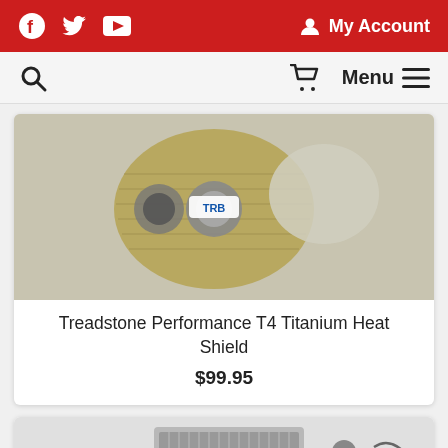Facebook Twitter YouTube | My Account
Search | Cart | Menu
[Figure (photo): Treadstone Performance T4 Titanium Heat Shield product photo — a turbocharger wrapped in gold/tan heat shield material with a TRB logo badge]
Treadstone Performance T4 Titanium Heat Shield
$99.95
[Figure (photo): Partial view of a second product card showing an intercooler kit with red couplers and various fittings/hardware]